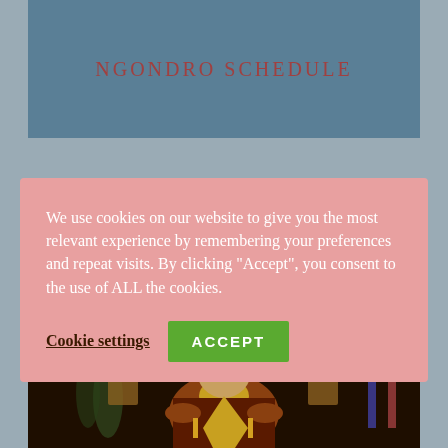NGONDRO SCHEDULE
We use cookies on our website to give you the most relevant experience by remembering your preferences and repeat visits. By clicking "Accept", you consent to the use of ALL the cookies.
Cookie settings
ACCEPT
[Figure (photo): Photo of a Tibetan Buddhist lama in ceremonial robes (red and yellow) performing a ritual, seated in front of an ornate shrine with colorful decorations and religious objects]